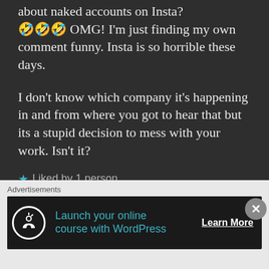about naked accounts on Insta? 🤣🤣🤣 OMG! I'm just finding my own comment funny. Insta is so horrible these days.
I don't know which company it's happening in and from where you got to hear that but its a stupid decision to mess with your work. Isn't it?
★ Liked by 1 person
Advertisements
Launch your online course with WordPress
Learn More